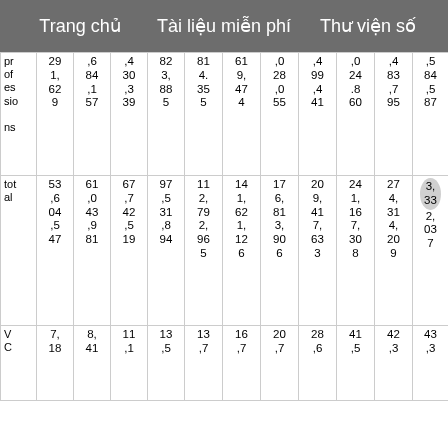Trang chủ   Tài liệu miễn phí   Thư viện số
| pr
of
es
sio

ns | 29
1,
62
9 | ,6
84
,1
57 | ,4
30
,3
39 | 82
3,
88
5 | 81
4.
35
5 | 61
9,
47
4 | ,0
28
,0
55 | ,4
99
,4
41 | ,0
24
.8
60 | ,4
83
,7
95 | ,5
84
,5
87 |
| tot
al | 53
,6
04
,5
47 | 61
,0
43
,9
81 | 67
,7
42
,5
19 | 97
,5
31
,8
94 | 11
2,
79
2,
96
5 | 14
1,
62
1,
12
6 | 17
6,
81
3,
90
6 | 20
9,
41
7,
63
3 | 24
1,
16
7,
30
8 | 27
4,
31
4,
20
9 | 32
3,
33
2,
03
7 |
| V
C | 7,
18 | 8,
41 | 11
,1 | 13
,5 | 13
,7 | 16
,7 | 20
,7 | 28
,6 | 41
,5 | 42
,3 | 43
,3 |